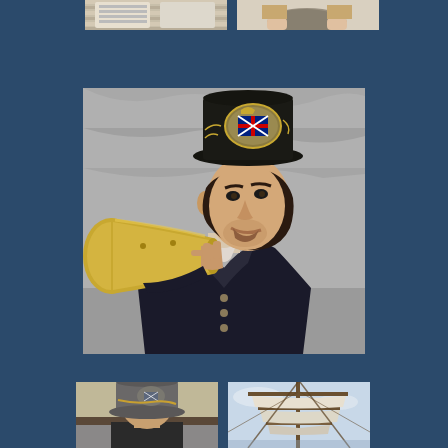[Figure (photo): Partial photo at top left showing striped fabric or clothing detail]
[Figure (photo): Partial photo at top right showing hands holding a rocky object against a light background]
[Figure (photo): Large center photo of a man in historical costume wearing a tall black hat with a British Union Jack emblem, shouting through a large brass megaphone/speaking trumpet, dressed in dark period clothing]
[Figure (photo): Bottom left partial photo showing a person wearing a grey decorated hat, possibly the same historical costume]
[Figure (photo): Bottom right partial photo showing rigging and sails of a tall ship against a light sky]